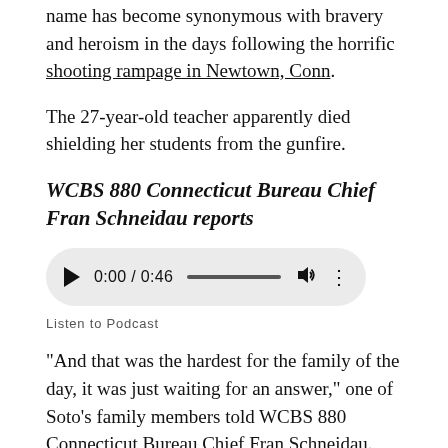name has become synonymous with bravery and heroism in the days following the horrific shooting rampage in Newtown, Conn.
The 27-year-old teacher apparently died shielding her students from the gunfire.
WCBS 880 Connecticut Bureau Chief Fran Schneidau reports
[Figure (other): Audio player widget showing 0:00 / 0:46 with play button, progress bar, volume icon, and options icon]
Listen to Podcast
"And that was the hardest for the family of the day, it was just waiting for an answer," one of Soto's family members told WCBS 880 Connecticut Bureau Chief Fran Schneidau.